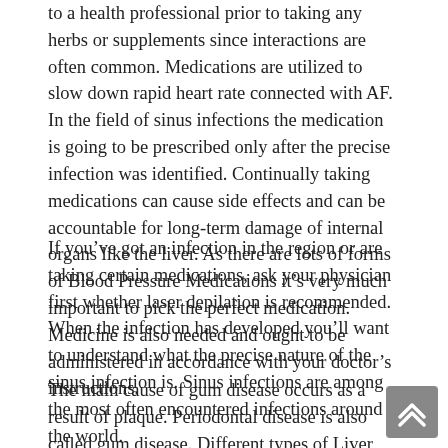to a health professional prior to taking any herbs or supplements since interactions are often common. Medications are utilized to slow down rapid heart rate connected with AF. In the field of sinus infections the medication is going to be prescribed only after the precise infection was identified. Continually taking medications can cause side effects and can be accountable for long-term damage of internal organs like the liver. As there are lots of forms of Blood Pressure Medications it's very much important to pick the perfect medication. Medicine is also needed and ought to be administered in accordance with your doctor's instructions.
If you've got an infection in the region or are taking certain medications, ask your physician first whether laser depilation is recommended. When the infection has developed you'll want to understand what the precise nature of the sinus infection is. Sinus infections are among the most often encountered infections around the world.
The main cause of gum disease occurs as a result of plaque. Periodontal disease is also called gum disease. Different types of Liver Disease There are many kinds of liver disease. It is a collective phrase which